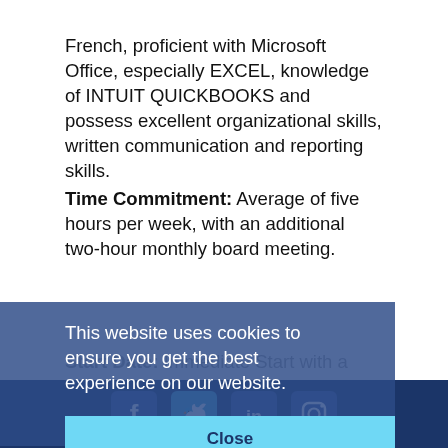French, proficient with Microsoft Office, especially EXCEL, knowledge of INTUIT QUICKBOOKS and possess excellent organizational skills, written communication and reporting skills.
Time Commitment: Average of five hours per week, with an additional two-hour monthly board meeting.
Start Date: Immediate Start with a minimum commitment of 24 months required.
For more information or to apply please email leadership@wice-paris.org.
This website uses cookies to ensure you get the best experience on our website.
Close
[Figure (other): Social media icons: Facebook, Twitter, LinkedIn, Instagram in dark blue footer bar]